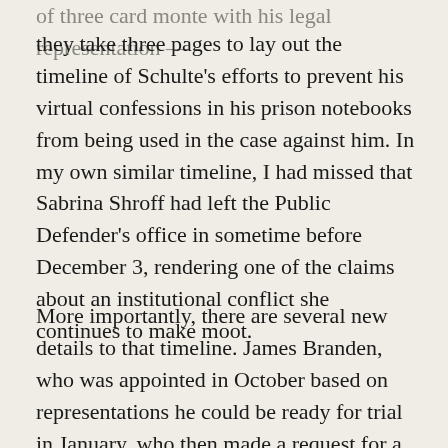of three card monte with his legal representation — they take three pages to lay out the timeline of Schulte's efforts to prevent his virtual confessions in his prison notebooks from being used in the case against him. In my own similar timeline, I had missed that Sabrina Shroff had left the Public Defender's office in sometime before December 3, rendering one of the claims about an institutional conflict she continues to make moot.
More importantly, there are several new details to that timeline. James Branden, who was appointed in October based on representations he could be ready for trial in January, who then made a request for a six month delay in November because he couldn't be ready even while admitting he had a week vacation scheduled when he first took on the case, has only